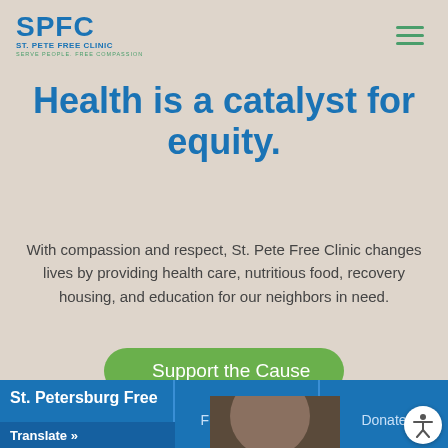[Figure (logo): SPFC St. Pete Free Clinic logo with tagline 'Serve People. Free Compassion.']
Health is a catalyst for equity.
With compassion and respect, St. Pete Free Clinic changes lives by providing health care, nutritious food, recovery housing, and education for our neighbors in need.
Support the Cause
St. Petersburg Free
Translate »
Find Help Now
Donate